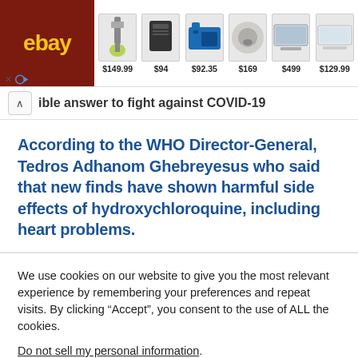[Figure (screenshot): eBay advertisement banner showing product images with prices: vacuum $149.99, speaker $94, tool bag $92.35, earbuds $169, laptop $499, laptop $129.99]
ible answer to fight against COVID-19
According to the WHO Director-General, Tedros Adhanom Ghebreyesus who said that new finds have shown harmful side effects of hydroxychloroquine, including heart problems.
We use cookies on our website to give you the most relevant experience by remembering your preferences and repeat visits. By clicking “Accept”, you consent to the use of ALL the cookies.
Do not sell my personal information.
Cookie settings
ACCEPT